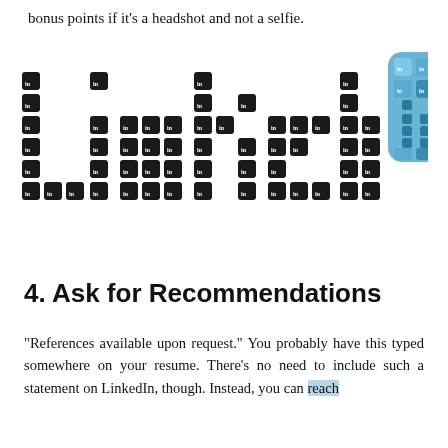bonus points if it's a headshot and not a selfie.
[Figure (illustration): LinkedIn logo made up of small 'in' LinkedIn icons arranged to spell out 'Linked' in black, alongside a large blue 'in' LinkedIn icon also made up of smaller 'in' icons on the right side.]
4. Ask for Recommendations
"References available upon request." You probably have this typed somewhere on your resume. There's no need to include such a statement on LinkedIn, though. Instead, you can reach